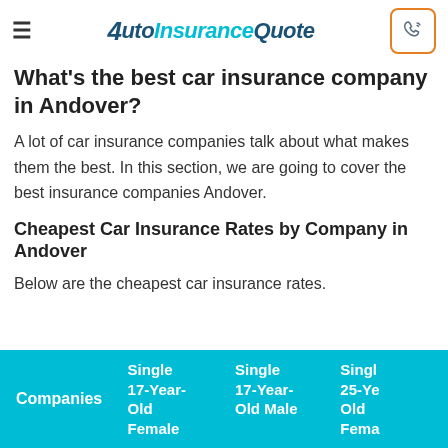AutoInsuranceQuote
What's the best car insurance company in Andover?
A lot of car insurance companies talk about what makes them the best. In this section, we are going to cover the best insurance companies Andover.
Cheapest Car Insurance Rates by Company in Andover
Below are the cheapest car insurance rates.
| Companies | Single 17-Year-Old Female | Single 17-Year-Old Male | Single 25-Year-Old Female |
| --- | --- | --- | --- |